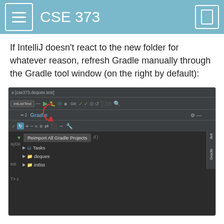CSE 373
If IntelliJ doesn't react to the new folder for whatever reason, refresh Gradle manually through the Gradle tool window (on the right by default):
[Figure (screenshot): Screenshot of IntelliJ IDE showing the Gradle tool window with a 'Reimport All Gradle Projects' tooltip visible, and a tree showing Tasks, deques, and intlist entries. A red arrow annotation points to the Gradle label.]